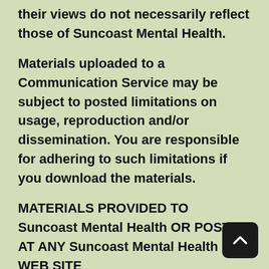their views do not necessarily reflect those of Suncoast Mental Health.
Materials uploaded to a Communication Service may be subject to posted limitations on usage, reproduction and/or dissemination. You are responsible for adhering to such limitations if you download the materials.
MATERIALS PROVIDED TO Suncoast Mental Health OR POSTED AT ANY Suncoast Mental Health WEB SITE
Suncoast Mental Health does not claim ownership of the materials you provide to Suncoast Mental Health (including feedback